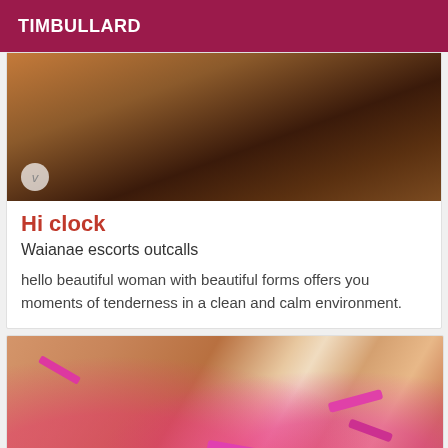TIMBULLARD
[Figure (photo): Close-up photo with dark tones]
Hi clock
Waianae escorts outcalls
hello beautiful woman with beautiful forms offers you moments of tenderness in a clean and calm environment.
[Figure (photo): Photo with pink accents]